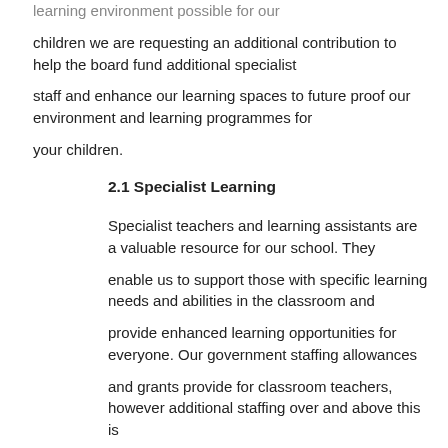learning environment possible for our children we are requesting an additional contribution to help the board fund additional specialist staff and enhance our learning spaces to future proof our environment and learning programmes for your children.
2.1 Specialist Learning
Specialist teachers and learning assistants are a valuable resource for our school. They enable us to support those with specific learning needs and abilities in the classroom and provide enhanced learning opportunities for everyone. Our government staffing allowances and grants provide for classroom teachers, however additional staffing over and above this is paid from the Board's funds. In order to continue to provide the range of specialist teaching